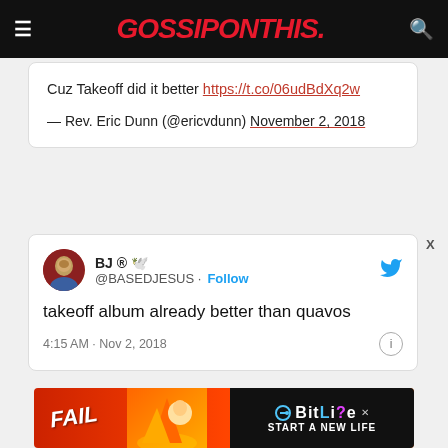GOSSIPONTHIS.
Cuz Takeoff did it better https://t.co/06udBdXq2w
— Rev. Eric Dunn (@ericvdunn) November 2, 2018
BJ ® @BASEDJESUS · Follow
takeoff album already better than quavos
4:15 AM · Nov 2, 2018
[Figure (screenshot): Advertisement banner for BitLife game showing FAIL text, cartoon character, flames, and 'START A NEW LIFE' text]